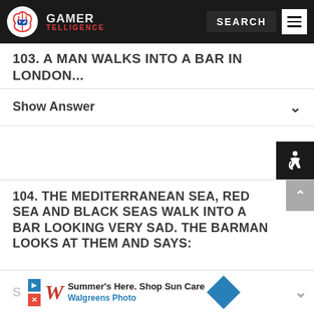GAMER TELLIGENCE — SEARCH
103. A MAN WALKS INTO A BAR IN LONDON...
Show Answer
[Figure (screenshot): Accessibility icon (wheelchair symbol) in black square]
104. THE MEDITERRANEAN SEA, RED SEA AND BLACK SEAS WALK INTO A BAR LOOKING VERY SAD. THE BARMAN LOOKS AT THEM AND SAYS:
[Figure (screenshot): Advertisement banner: Summer's Here. Shop Sun Care — Walgreens Photo with play button and diamond icon]